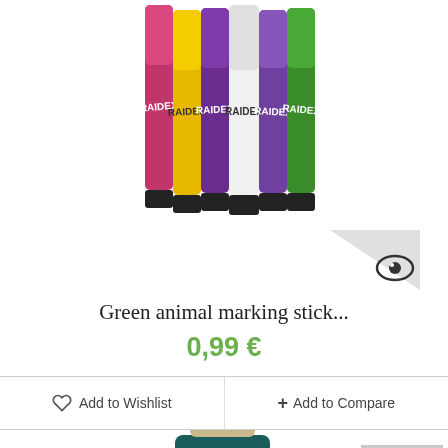[Figure (photo): Multiple colorful RAIDEX animal marking sticks (pink, yellow, purple, white, purple, green) standing upright, with an eye logo badge in the bottom-right corner]
Green animal marking stick...
0,99 €
Add to Wishlist
+ Add to Compare
[Figure (photo): Dark teal/green bottle of Devillot product, partially visible at bottom of page. Back-to-top arrow button visible at bottom right.]